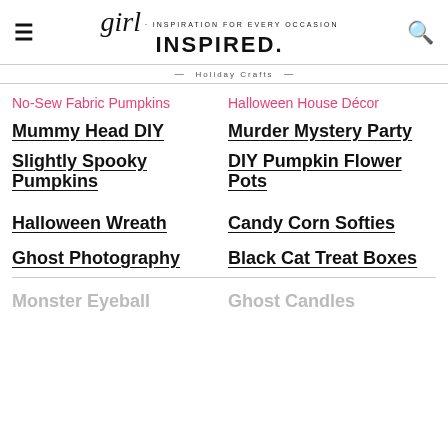Girl Inspired. · INSPIRATION FOR EVERY OCCASION
No-Sew Fabric Pumpkins
Halloween House Décor
Mummy Head DIY
Murder Mystery Party
Slightly Spooky Pumpkins
DIY Pumpkin Flower Pots
Halloween Wreath
Candy Corn Softies
Ghost Photography
Black Cat Treat Boxes
Monster Eyeball
Ghost Candles